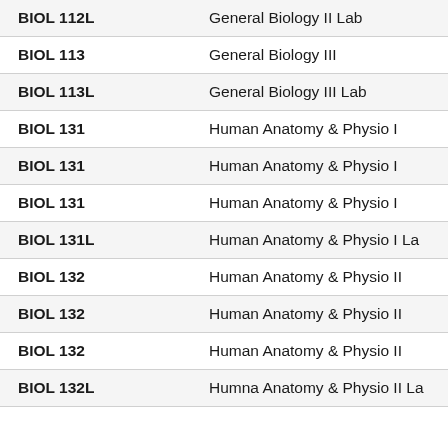| Course Code | Course Name |
| --- | --- |
| BIOL 112L | General Biology II Lab |
| BIOL 113 | General Biology III |
| BIOL 113L | General Biology III Lab |
| BIOL 131 | Human Anatomy & Physio I |
| BIOL 131 | Human Anatomy & Physio I |
| BIOL 131 | Human Anatomy & Physio I |
| BIOL 131L | Human Anatomy & Physio I La |
| BIOL 132 | Human Anatomy & Physio II |
| BIOL 132 | Human Anatomy & Physio II |
| BIOL 132 | Human Anatomy & Physio II |
| BIOL 132L | Humna Anatomy & Physio II La |